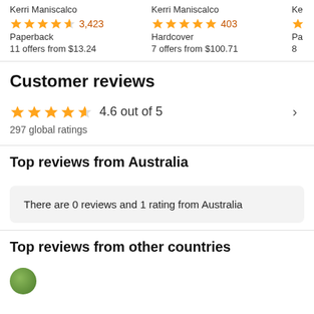Kerri Maniscalco
3,423 stars Paperback 11 offers from $13.24
Kerri Maniscalco
403 stars Hardcover 7 offers from $100.71
Customer reviews
4.6 out of 5
297 global ratings
Top reviews from Australia
There are 0 reviews and 1 rating from Australia
Top reviews from other countries